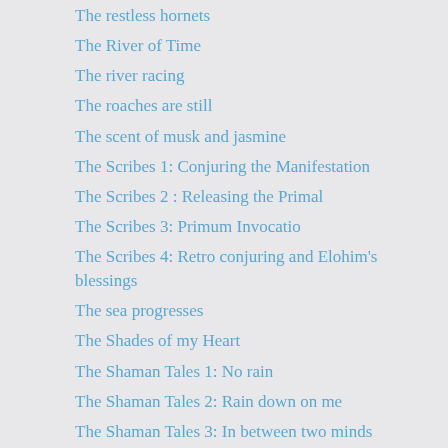The restless hornets
The River of Time
The river racing
The roaches are still
The scent of musk and jasmine
The Scribes 1: Conjuring the Manifestation
The Scribes 2 : Releasing the Primal
The Scribes 3: Primum Invocatio
The Scribes 4: Retro conjuring and Elohim's blessings
The sea progresses
The Shades of my Heart
The Shaman Tales 1: No rain
The Shaman Tales 2: Rain down on me
The Shaman Tales 3: In between two minds
The Shaman Tales 4: Summoning the rains
The Shaman tales 5: Uncovering the shamanic gift
The Shaman Tales 6 : Molding Consciousness
The Shaman Tales 7 : The spells
The Shaman Tales 8 : The connection to GAIA
The Shaman Tales 9 : the mutation